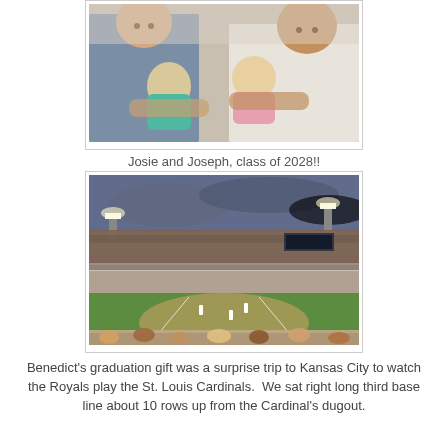[Figure (photo): Two men holding two babies (infants), one in a teal/floral outfit and one in pink, indoors]
Josie and Joseph, class of 2028!!
[Figure (photo): Baseball stadium packed with fans, showing the field from near the third base line, with stadium lights on under a cloudy/dramatic sky]
Benedict's graduation gift was a surprise trip to Kansas City to watch the Royals play the St. Louis Cardinals.  We sat right long third base line about 10 rows up from the Cardinal's dugout.